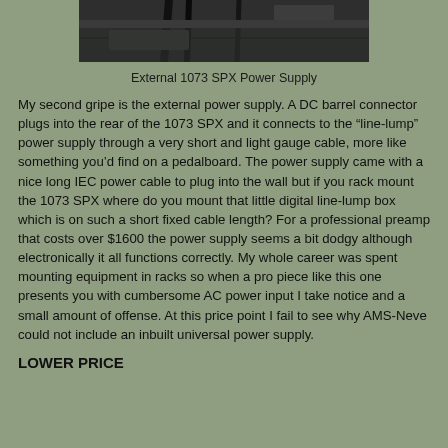[Figure (photo): Photo of external 1073 SPX power supply unit seen from below/behind, showing cable connections against a dark surface.]
External 1073 SPX Power Supply
My second gripe is the external power supply. A DC barrel connector plugs into the rear of the 1073 SPX and it connects to the “line-lump” power supply through a very short and light gauge cable, more like something you’d find on a pedalboard. The power supply came with a nice long IEC power cable to plug into the wall but if you rack mount the 1073 SPX where do you mount that little digital line-lump box which is on such a short fixed cable length? For a professional preamp that costs over $1600 the power supply seems a bit dodgy although electronically it all functions correctly. My whole career was spent mounting equipment in racks so when a pro piece like this one presents you with cumbersome AC power input I take notice and a small amount of offense. At this price point I fail to see why AMS-Neve could not include an inbuilt universal power supply.
LOWER PRICE